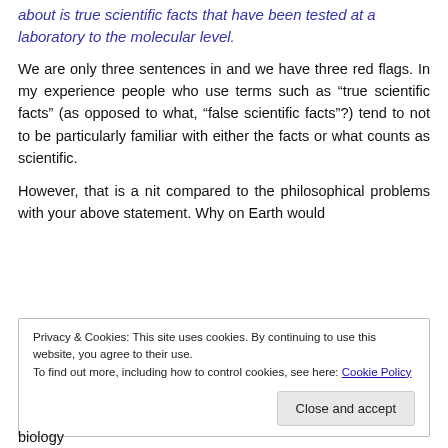about is true scientific facts that have been tested at a laboratory to the molecular level.
We are only three sentences in and we have three red flags. In my experience people who use terms such as “true scientific facts” (as opposed to what, “false scientific facts”?) tend to not to be particularly familiar with either the facts or what counts as scientific.
However, that is a nit compared to the philosophical problems with your above statement. Why on Earth would
Privacy & Cookies: This site uses cookies. By continuing to use this website, you agree to their use.
To find out more, including how to control cookies, see here: Cookie Policy
biology